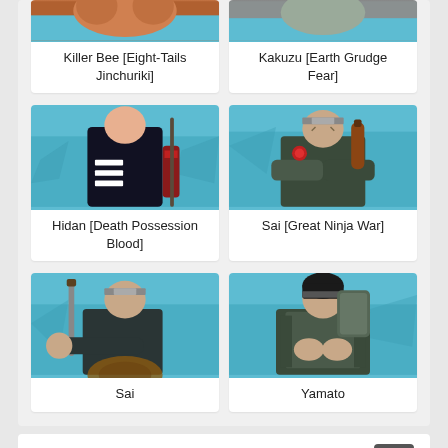[Figure (illustration): Killer Bee Eight-Tails Jinchuriki anime character card - partial top visible]
Killer Bee [Eight-Tails Jinchuriki]
[Figure (illustration): Kakuzu Earth Grudge Fear anime character card - partial top visible]
Kakuzu [Earth Grudge Fear]
[Figure (illustration): Hidan Death Possession Blood anime character - full card]
Hidan [Death Possession Blood]
[Figure (illustration): Sai Great Ninja War anime character - full card]
Sai [Great Ninja War]
[Figure (illustration): Sai anime character - full card]
Sai
[Figure (illustration): Yamato anime character - full card]
Yamato
About the author